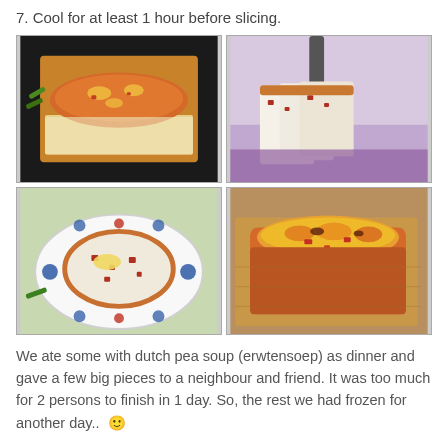7. Cool for at least 1 hour before slicing.
[Figure (photo): Four photos showing a savory bread loaf: top-left shows the loaf in a baking pan lined with parchment paper, top-right shows sliced bread pieces, bottom-left shows a slice of bread on a decorated plate with butter, bottom-right shows a close-up of the golden-brown baked loaf top.]
We ate some with dutch pea soup (erwtensoep) as dinner and gave a few big pieces to a neighbour and friend. It was too much for 2 persons to finish in 1 day. So, the rest we had frozen for another day..  🙂